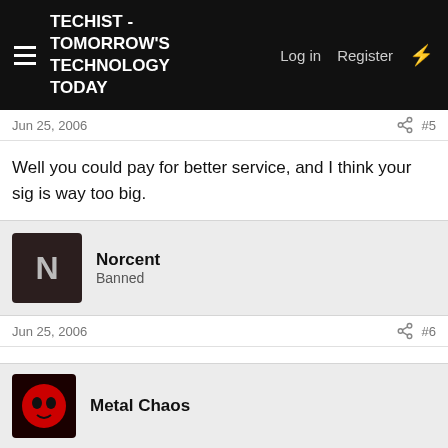TECHIST - TOMORROW'S TECHNOLOGY TODAY | Log in | Register
Jun 25, 2006  #5
Well you could pay for better service, and I think your sig is way too big.
Norcent
Banned
Jun 25, 2006  #6
you can make your sig as big as you want.

i don't want to pay for better service cause that will cost way much.
Metal Chaos